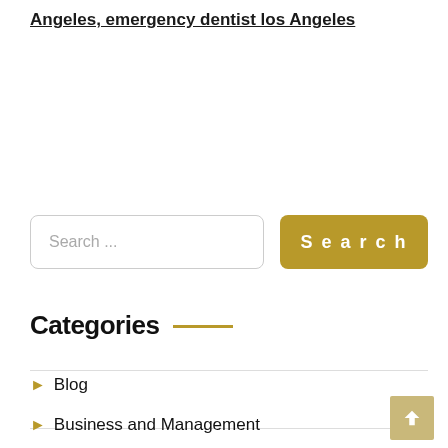Angeles, emergency dentist los Angeles
Search ...
Search
Categories
Blog
Business and Management